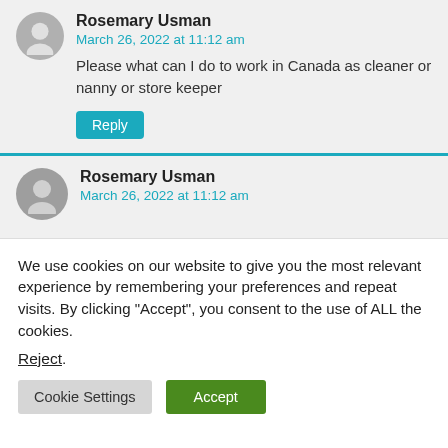Rosemary Usman
March 26, 2022 at 11:12 am
Please what can I do to work in Canada as cleaner or nanny or store keeper
Reply
Rosemary Usman
March 26, 2022 at 11:12 am
We use cookies on our website to give you the most relevant experience by remembering your preferences and repeat visits. By clicking “Accept”, you consent to the use of ALL the cookies.
Reject.
Cookie Settings
Accept